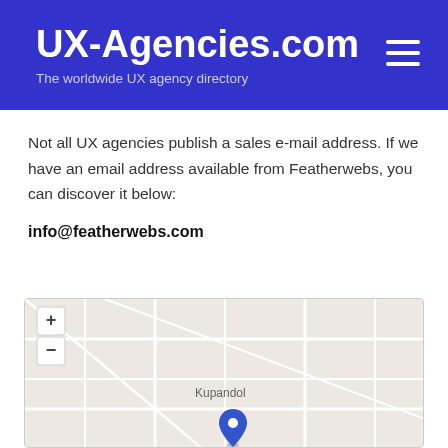UX-Agencies.com — The worldwide UX agency directory
Not all UX agencies publish a sales e-mail address. If we have an email address available from Featherwebs, you can discover it below:
info@featherwebs.com
[Figure (map): Interactive map showing location marker in Kupandol area with zoom in/out controls]